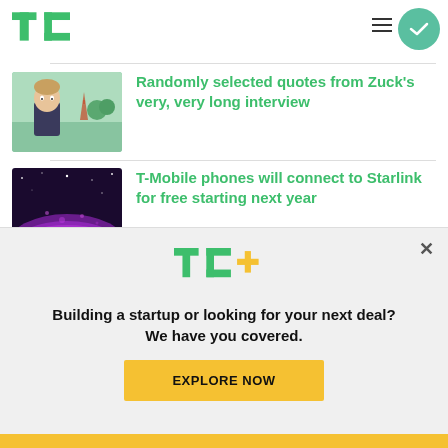TechCrunch navigation header
Randomly selected quotes from Zuck's very, very long interview
T-Mobile phones will connect to Starlink for free starting next year
Pitch Deck Teardown:
[Figure (screenshot): TechCrunch+ promotional banner with TC+ logo, headline 'Building a startup or looking for your next deal? We have you covered.' and an 'EXPLORE NOW' button]